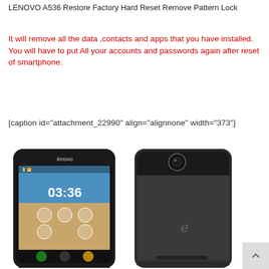LENOVO A536 Restore Factory Hard Reset Remove Pattern Lock
It will remove all the data ,contacts and apps that you have installed. You will have to put All your accounts and passwords again after reset of smartphone.
[caption id="attachment_22990" align="alignnone" width="373"]
[Figure (photo): Two Lenovo smartphones shown side by side: front view showing the Lenovo-branded phone with a beach wallpaper and time 03:36, and rear view showing the back of the phone with the Lenovo logo and camera.]